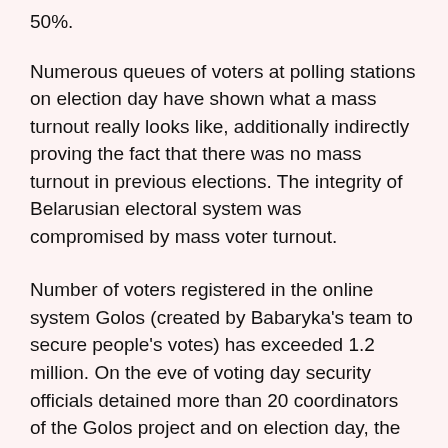50%.
Numerous queues of voters at polling stations on election day have shown what a mass turnout really looks like, additionally indirectly proving the fact that there was no mass turnout in previous elections. The integrity of Belarusian electoral system was compromised by mass voter turnout.
Number of voters registered in the online system Golos (created by Babaryka's team to secure people's votes) has exceeded 1.2 million. On the eve of voting day security officials detained more than 20 coordinators of the Golos project and on election day, the Golos project was inaccessible.
Lukashenka's major rival